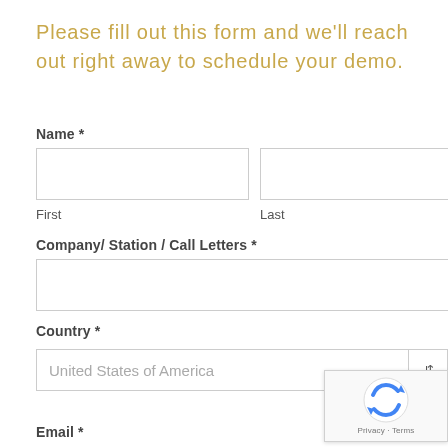Please fill out this form and we'll reach out right away to schedule your demo.
Name *
First
Last
Company/ Station / Call Letters *
Country *
United States of America
Email *